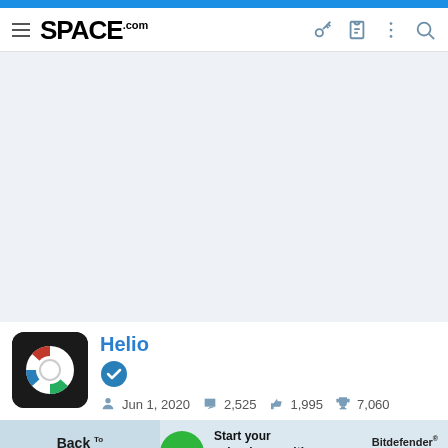SPACE.com
[Figure (other): Large light blue-grey content area / image placeholder]
Helio
Jun 1, 2020   2,525   1,995   7,060
[Figure (other): Bitdefender Back to School advertisement banner with -58% discount badge]